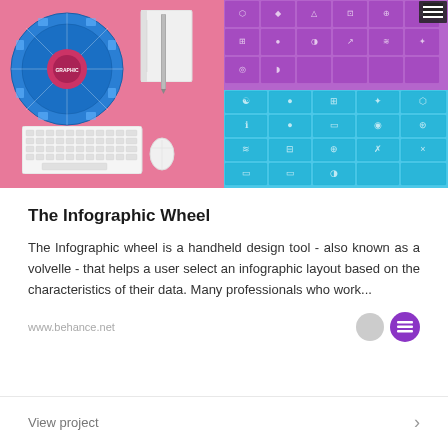[Figure (photo): Left half: photo of infographic wheel (blue circular design tool/volvelle) on pink background with white notebook, pencil, keyboard and mouse. Right top: purple grid of infographic icons on dark purple background with hamburger menu icon. Right bottom: cyan/teal grid of infographic icons on blue background.]
The Infographic Wheel
The Infographic wheel is a handheld design tool - also known as a volvelle - that helps a user select an infographic layout based on the characteristics of their data. Many professionals who work...
www.behance.net
View project